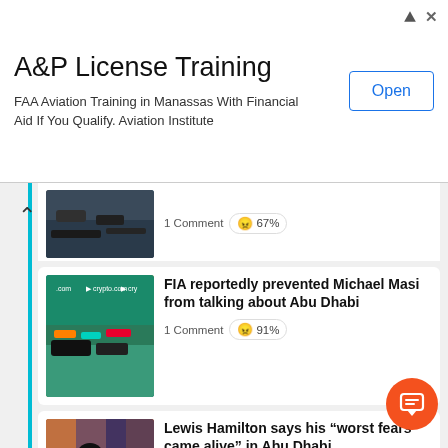[Figure (screenshot): Advertisement banner for A&P License Training - FAA Aviation Training in Manassas with Financial Aid]
1 Comment 😠 67%
FIA reportedly prevented Michael Masi from talking about Abu Dhabi
1 Comment 😠 91%
Lewis Hamilton says his "worst fears came alive" in Abu Dhabi
1 Comment 😐 68%
Toto Wolff: "The tough